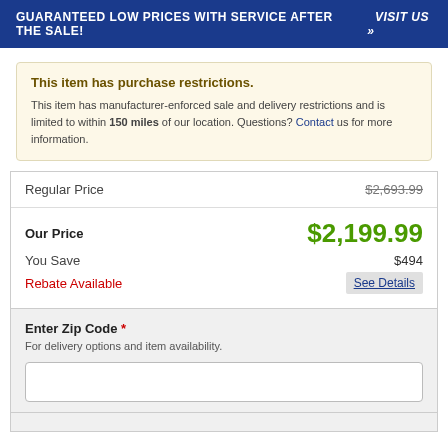GUARANTEED LOW PRICES WITH SERVICE AFTER THE SALE!   VISIT US »
This item has purchase restrictions.
This item has manufacturer-enforced sale and delivery restrictions and is limited to within 150 miles of our location. Questions? Contact us for more information.
| Regular Price | $2,693.99 |
| Our Price | $2,199.99 |
| You Save | $494 |
| Rebate Available | See Details |
Enter Zip Code *
For delivery options and item availability.